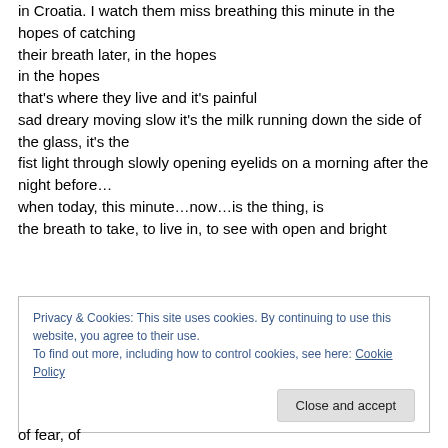in Croatia. I watch them miss breathing this minute in the hopes of catching
their breath later, in the hopes
in the hopes
that's where they live and it's painful
sad dreary moving slow it's the milk running down the side of the glass, it's the
fist light through slowly opening eyelids on a morning after the night before…
when today, this minute…now…is the thing, is
the breath to take, to live in, to see with open and bright
Privacy & Cookies: This site uses cookies. By continuing to use this website, you agree to their use.
To find out more, including how to control cookies, see here: Cookie Policy
of fear, of